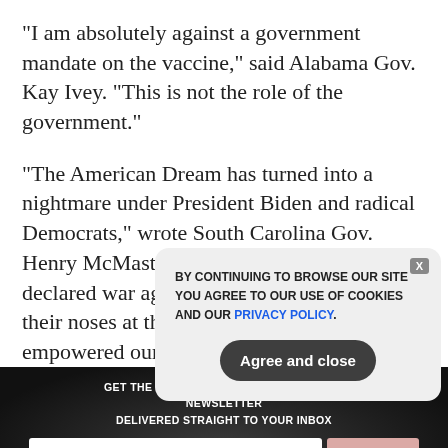“I am absolutely against a government mandate on the vaccine,” said Alabama Gov. Kay Ivey. “This is not the role of the government.”
“The American Dream has turned into a nightmare under President Biden and radical Democrats,” wrote South Carolina Gov. Henry McMaster on Twitter. “They have declared war against capitalism, thumbed their noses at the Constitution and empowered our enemies abroad.”
GET THE WORLD’S BEST NATURAL HEALTH NEWSLETTER DELIVERED STRAIGHT TO YOUR INBOX
BY CONTINUING TO BROWSE OUR SITE YOU AGREE TO OUR USE OF COOKIES AND OUR PRIVACY POLICY.
Agree and close